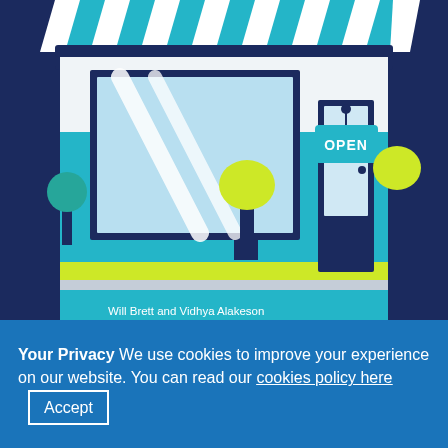[Figure (illustration): Colorful flat illustration of a shop front with a blue and white striped awning, large display window with white diagonal lines, an 'OPEN' teal sign on the door, yellow-green potted trees, teal and yellow floor, on a dark navy background. Text at bottom of illustration reads 'Will Brett and Vidhya Alakeson'.]
CUT THE NUMBER OF EMPTY SHOPS BY PUTTING COMMUNITIES IN CONTROL OF HIGH STREETS – NEW REPORT
Your Privacy We use cookies to improve your experience on our website. You can read our cookies policy here  Accept